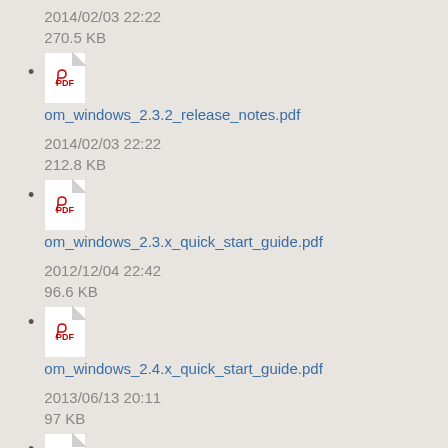2014/02/03 22:22
270.5 KB
om_windows_2.3.2_release_notes.pdf
2014/02/03 22:22
212.8 KB
om_windows_2.3.x_quick_start_guide.pdf
2012/12/04 22:42
96.6 KB
om_windows_2.4.x_quick_start_guide.pdf
2013/06/13 20:11
97 KB
(pdf icon visible, filename cut off)